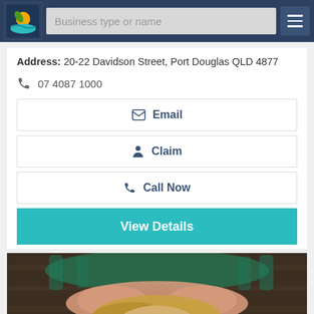[Figure (screenshot): Navigation bar with logo, business type or name search field, and hamburger menu button on dark blue background]
Address: 20-22 Davidson Street, Port Douglas QLD 4877
07 4087 1000
Email
Claim
Call Now
View Details
[Figure (photo): Woman lying face down on a massage table receiving a massage, with green towels/draping, hair spread out, wooden background]